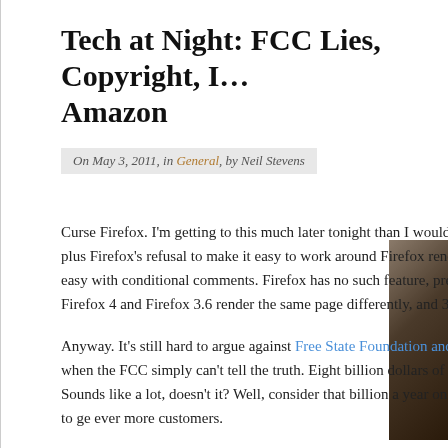Tech at Night: FCC Lies, Copyright, I... Amazon
On May 3, 2011, in General, by Neil Stevens
Curse Firefox. I'm getting to this much later tonight than I would have, thanks to a stinking Firefox 3.6 rendering bug, plus Firefox's refusal to make it easy to work around Firefox rendering bugs. Microsoft Internet Explorer makes that easy with conditional comments. Firefox has no such feature, pretending it's always right. Which is fine, except when Firefox 4 and Firefox 3.6 render the same page differently, and 3.6 does so wrongly.
Anyway. It's still hard to argue against Free State Foundation and others who want to roll back the FCC wholesale when the FCC simply can't tell the truth. Eight billion dollars of stimulus money went into broadband Internet in 2009. Sounds like a lot, doesn't it? Well, consider that billion a year on it lately. This is a thriving, competitive market rushing to ge ever more customers.